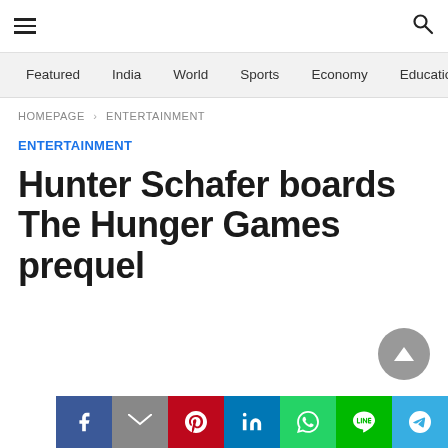≡  [search icon]
Featured  India  World  Sports  Economy  Education
HOMEPAGE > ENTERTAINMENT
ENTERTAINMENT
Hunter Schafer boards The Hunger Games prequel